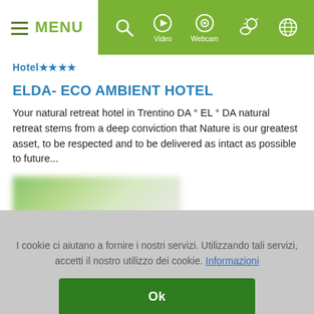MENU | Video | Webcam | [icons]
Hotel ★★★★
ELDA- ECO AMBIENT HOTEL
Your natural retreat hotel in Trentino DA ° EL ° DA natural retreat stems from a deep conviction that Nature is our greatest asset, to be respected and to be delivered as intact as possible to future...
[Figure (photo): Blurred image of hotel or landscape]
I cookie ci aiutano a fornire i nostri servizi. Utilizzando tali servizi, accetti il nostro utilizzo dei cookie. Informazioni
Ok